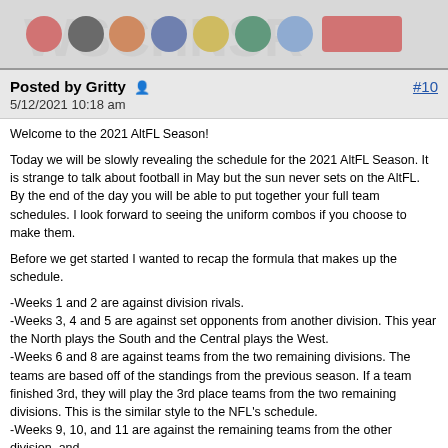[Figure (illustration): Row of NFL/AltFL team logos on a grey background strip]
Posted by Gritty 🧑 #10
5/12/2021 10:18 am
Welcome to the 2021 AltFL Season!
Today we will be slowly revealing the schedule for the 2021 AltFL Season. It is strange to talk about football in May but the sun never sets on the AltFL. By the end of the day you will be able to put together your full team schedules. I look forward to seeing the uniform combos if you choose to make them.
Before we get started I wanted to recap the formula that makes up the schedule.
-Weeks 1 and 2 are against division rivals.
-Weeks 3, 4 and 5 are against set opponents from another division. This year the North plays the South and the Central plays the West.
-Weeks 6 and 8 are against teams from the two remaining divisions. The teams are based off of the standings from the previous season. If a team finished 3rd, they will play the 3rd place teams from the two remaining divisions. This is the similar style to the NFL's schedule.
-Weeks 9, 10, and 11 are against the remaining teams from the other division. and
-Weeks 12 and 13 are against the next to last division rivals